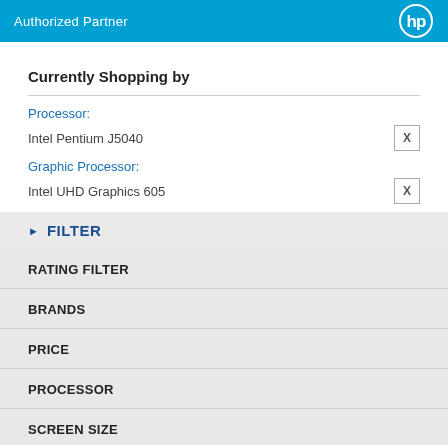Authorized Partner
Currently Shopping by
Processor:
Intel Pentium J5040
Graphic Processor:
Intel UHD Graphics 605
FILTER
RATING FILTER
BRANDS
PRICE
PROCESSOR
SCREEN SIZE